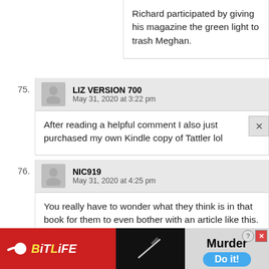Richard participated by giving his magazine the green light to trash Meghan.
75. LIZ VERSION 700 — May 31, 2020 at 3:22 pm — After reading a helpful comment I also just purchased my own Kindle copy of Tattler lol
76. NIC919 — May 31, 2020 at 4:25 pm — You really have to wonder what they think is in that book for them to even bother with an article like this. The many versions of the crying incident really makes one wonder what really happened.
[Figure (screenshot): BitLife advertisement banner at bottom of page with red background, showing BitLife logo and Murder / Do it! call to action]